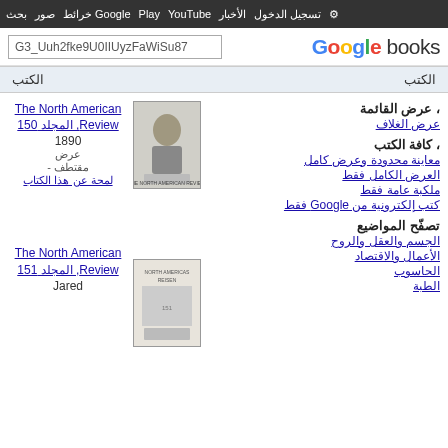بحث صور خرائط Google Play YouTube الأخبار تسجيل الدخول ‏الإعدادات
[Figure (screenshot): Google Books search bar with query G3_Uuh2fke9U0IIUyzFaWiSu87 and Google Books logo]
الكتب الكتب
، عرض القائمة عرض الغلاف
، كافة الكتب معاينة محدودة وعرض كامل العرض الكامل فقط ملكبة عامة فقط كتب إلكترونية من Google فقط
The North American Review, المجلد 150
1890
عرض مقتطف - لمحة عن هذا الكتاب
The North American Review, المجلد 151
Jared
تصفّح المواضيع الجسم والعقل والروح الأعمال والاقتصاد الحاسوب الطبة